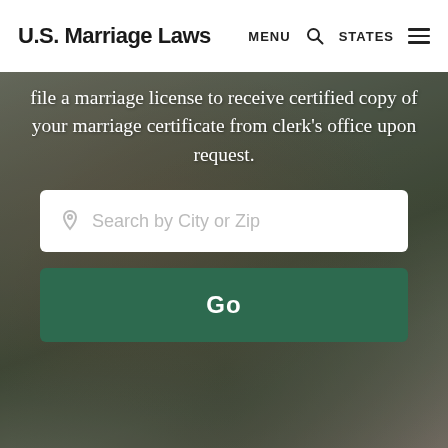U.S. Marriage Laws  MENU  🔍  STATES  ☰
file a marriage license to receive certified copy of your marriage certificate from clerk's office upon request.
[Figure (screenshot): Search input field with location pin icon and placeholder text 'Search by City or Zip']
[Figure (other): Green 'Go' button]